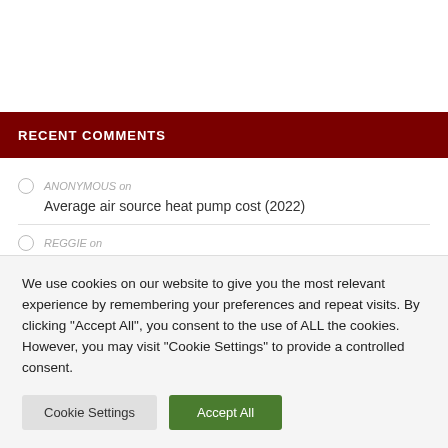RECENT COMMENTS
ANONYMOUS on
Average air source heat pump cost (2022)
REGGIE on
We use cookies on our website to give you the most relevant experience by remembering your preferences and repeat visits. By clicking "Accept All", you consent to the use of ALL the cookies. However, you may visit "Cookie Settings" to provide a controlled consent.